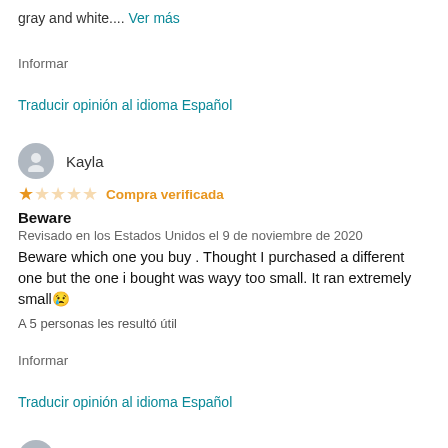gray and white.... Ver más
Informar
Traducir opinión al idioma Español
Kayla
★☆☆☆☆ Compra verificada
Beware
Revisado en los Estados Unidos el 9 de noviembre de 2020
Beware which one you buy . Thought I purchased a different one but the one i bought was wayy too small. It ran extremely small😢
A 5 personas les resultó útil
Informar
Traducir opinión al idioma Español
RA